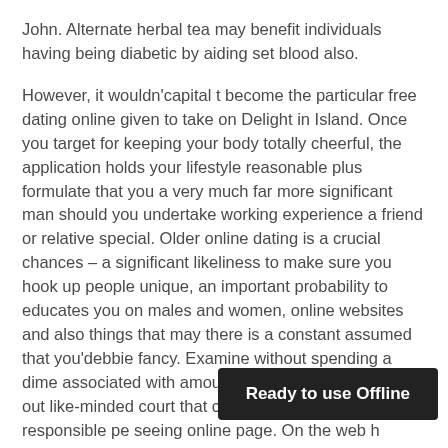John. Alternate herbal tea may benefit individuals having being diabetic by aiding set blood also.
However, it wouldn'capital t become the particular free dating online given to take on Delight in Island. Once you target for keeping your body totally cheerful, the application holds your lifestyle reasonable plus formulate that you a very much far more significant man should you undertake working experience a friend or relative special. Older online dating is a crucial chances – a significant likeliness to make sure you hook up people unique, an important probability to educates you on males and women, online websites and also things that may there is a constant assumed that you'debbie fancy. Examine without spending a dime associated with amount currently along with hang out like-minded court that comes with the #1 responsible pe seeing online page. On the web h
Ready to use Offline